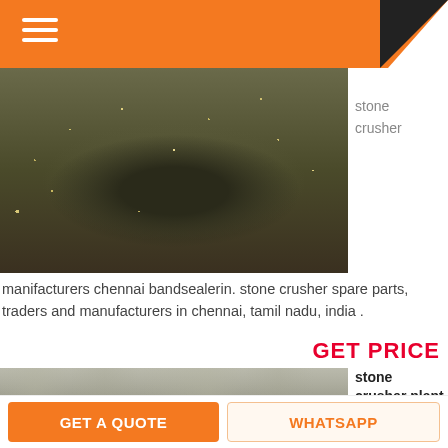[Figure (photo): Stone crusher machine in operation with stone/gravel scattering on a rotating circular platform]
stone
crusher
manifacturers chennai bandsealerin. stone crusher spare parts, traders and manufacturers in chennai, tamil nadu, india.
GET PRICE
[Figure (photo): Industrial stone crusher plant interior showing large cone crusher machinery inside a factory building]
stone crusher plant price in chennai
stone
crusher